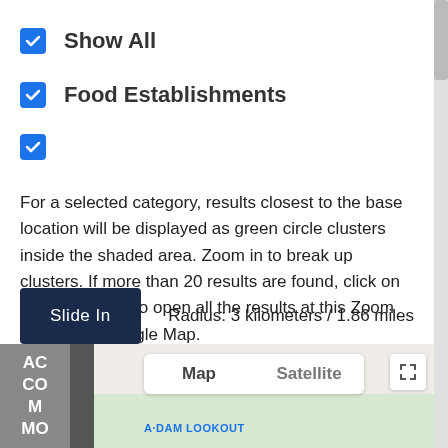Show All
Food Establishments
For a selected category, results closest to the base location will be displayed as green circle clusters inside the shaded area. Zoom in to break up clusters. If more than 20 results are found, click on the "More" link to open all the results at this Zoom Level on a Google Map.
Slide In
Radius: 3 kilometers / 1.86 miles
[Figure (logo): WPNearbyPlaces logo with map pin icon and text WPNearbyPlaces]
[Figure (screenshot): Google Maps strip showing Map/Satellite tabs, fullscreen button, ACCOMMO label on left, and A-DAM LOOKOUT marker on map]